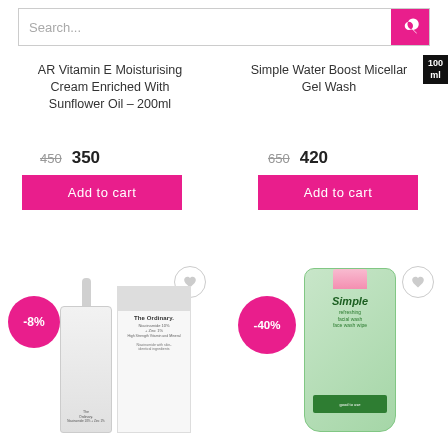Search...
AR Vitamin E Moisturising Cream Enriched With Sunflower Oil – 200ml
450  350
Add to cart
Simple Water Boost Micellar Gel Wash
650  420
Add to cart
[Figure (photo): The Ordinary Niacinamide serum dropper bottle and product box]
-8%
[Figure (photo): Simple refreshing facial wash green tube]
-40%